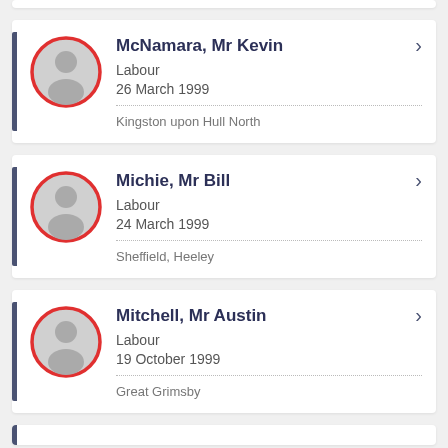McNamara, Mr Kevin | Labour | 26 March 1999 | Kingston upon Hull North
Michie, Mr Bill | Labour | 24 March 1999 | Sheffield, Heeley
Mitchell, Mr Austin | Labour | 19 October 1999 | Great Grimsby